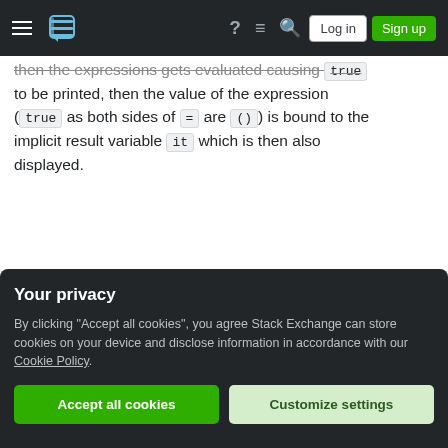Stack Exchange navigation header with Log in and Sign up buttons
then the expressions gets evaluated causing `true` to be printed, then the value of the expression (`true` as both sides of `=` are `()`) is bound to the implicit result variable `it` which is then also displayed.
Share
Improve this answer
Follow
edited Jun 17, 2020 at 9:04
Community Bot 1
answered Oct 26, 2016 at 11:48
Laikoni
Your privacy
By clicking "Accept all cookies", you agree Stack Exchange can store cookies on your device and disclose information in accordance with our Cookie Policy.
Accept all cookies
Customize settings
@Neil You're right, `fun` is syntactic sugar for anonymous function bound with `val` (`rec` is only